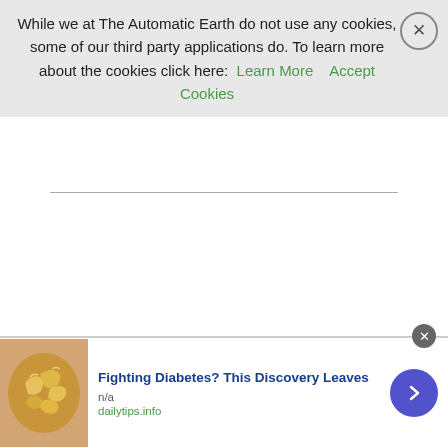While we at The Automatic Earth do not use any cookies, some of our third party applications do. To learn more about the cookies click here: Learn More   Accept Cookies
As the virus rages on into ever larger record numbers, today we are treated to the hilarious sight of two presidential candidates each accusing the other of being a Marxist. #ComradeTrump goes viral. One gets the feeling that maybe both parties hired the same PR firm. Or at least ones that use the same playbook. Which fails to mention that the Soviet Union dissolved some 30 years ago.
[Figure (other): Advertisement banner: image of cashews/nuts, text 'Fighting Diabetes? This Discovery Leaves', n/a, dailytips.info, with blue arrow button]